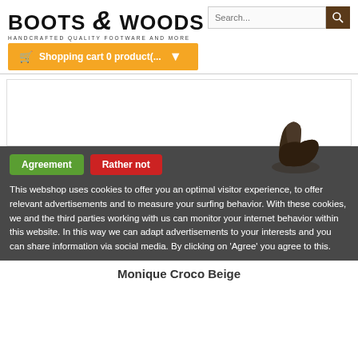[Figure (logo): Boots & Woods logo with tagline HANDCRAFTED QUALITY FOOTWARE AND MORE]
Search...
Shopping cart 0 product(...
[Figure (screenshot): White content box area]
Agreement   Rather not
This webshop uses cookies to offer you an optimal visitor experience, to offer relevant advertisements and to measure your surfing behavior. With these cookies, we and the third parties working with us can monitor your internet behavior within this website. In this way we can adapt advertisements to your interests and you can share information via social media. By clicking on 'Agree' you agree to this.
Monique Croco Beige